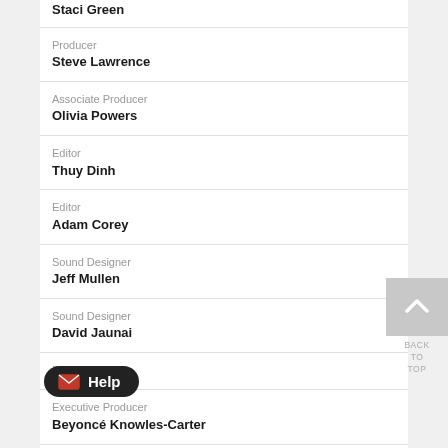Staci Green
Producer
Steve Lawrence
Associate Producer
Olivia Powers
Editor
Thuy Dinh
Editor
Adam Corey
Sound Designer
Jeff Mullen
Sound Designer
David Jaunai
Producer
Executive Producer
Beyoncé Knowles-Carter
[Figure (infographic): Back to top button with upward arrow]
[Figure (infographic): Help button with envelope icon]